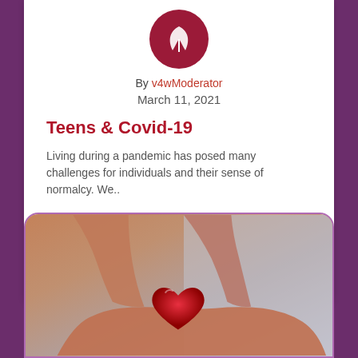[Figure (logo): Circular dark red/maroon logo with white leaf/wing design]
By v4wModerator
March 11, 2021
Teens & Covid-19
Living during a pandemic has posed many challenges for individuals and their sense of normalcy. We..
Comments (0)
Appreciates (254)
[Figure (photo): Hands holding a red heart shape, photo of two pairs of hands cradling a red heart object against a grey background]